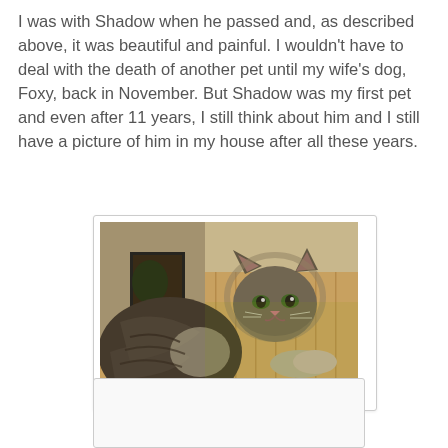I was with Shadow when he passed and, as described above, it was beautiful and painful. I wouldn't have to deal with the death of another pet until my wife's dog, Foxy, back in November. But Shadow was my first pet and even after 11 years, I still think about him and I still have a picture of him in my house after all these years.
[Figure (photo): Old photograph of a long-haired tabby cat (Shadow) lying on what appears to be a wooden surface or piece of furniture. The cat is looking toward the camera. Background shows a wall and some objects on a shelf. The photo has a vintage, slightly faded quality.]